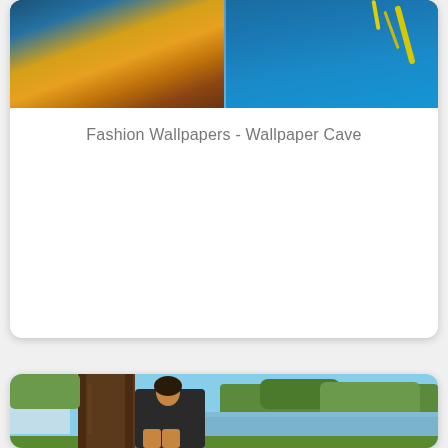[Figure (photo): Top card showing fashion wallpaper image with women in colorful dresses on blue background, partially cropped at top]
Fashion Wallpapers - Wallpaper Cave
[Figure (photo): Woman in dark lace dress sitting against a large tree trunk near a lake, with green trees and blue sky in background, outdoor fashion photography]